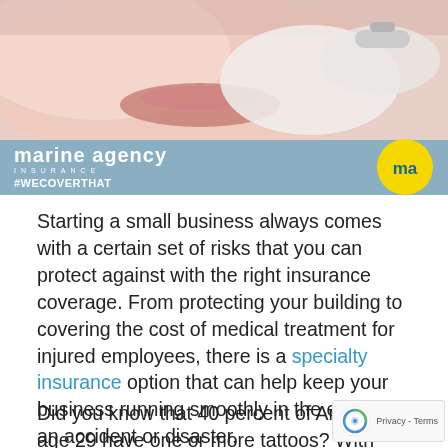[Figure (photo): Close-up photo of a dental procedure being performed, with gloved hands near a patient's mouth. Overlaid with Marine Agency Insurance banner featuring logo and #WECOVERTHAT hashtag on a blue-grey background.]
Starting a small business always comes with a certain set of risks that you can protect against with the right insurance coverage. From protecting your building to covering the cost of medical treatment for injured employees, there is a specialty insurance option that can help keep your business running smoothly in the event of an accident or disaster.
Did you know that 40 percent of Americans age 29 have one or more tattoos? With more people